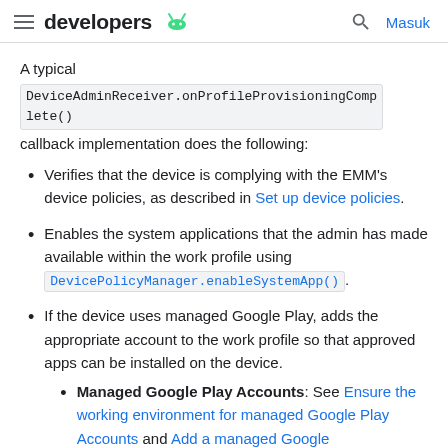developers | Masuk
A typical DeviceAdminReceiver.onProfileProvisioningComplete() callback implementation does the following:
Verifies that the device is complying with the EMM's device policies, as described in Set up device policies.
Enables the system applications that the admin has made available within the work profile using DevicePolicyManager.enableSystemApp().
If the device uses managed Google Play, adds the appropriate account to the work profile so that approved apps can be installed on the device.
Managed Google Play Accounts: See Ensure the working environment for managed Google Play Accounts and Add a managed Google